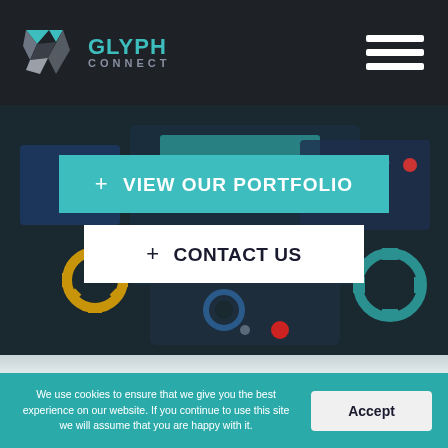[Figure (logo): Glyph Connect logo: geometric diamond/arrow shape in teal and grey, with GLYPH in teal bold text and CONNECT in grey spaced caps below]
[Figure (illustration): Dark teal hero background with illustrated UI screens, gear icons, and interface mockups]
+ VIEW OUR PORTFOLIO
+ CONTACT US
We use cookies to ensure that we give you the best experience on our website. If you continue to use this site we will assume that you are happy with it.
Accept